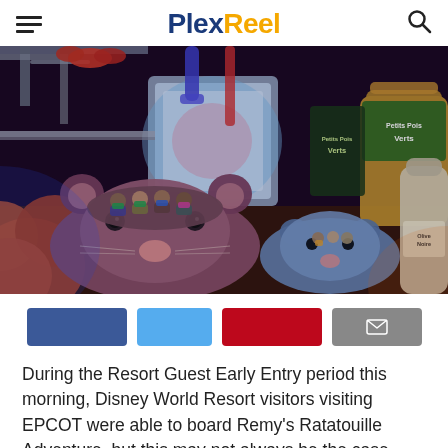PlexReel
[Figure (photo): Theme park ride photo showing guests riding Remy's Ratatouille Adventure at EPCOT. The ride vehicles are shaped like rats. Riders are wearing masks. The scene is lit in colorful blue, orange and purple tones with large props of food cans and kitchen equipment surrounding the track.]
[Figure (infographic): Social media share buttons: Facebook (dark blue), Twitter (light blue), Pinterest (red), Email (gray with envelope icon)]
During the Resort Guest Early Entry period this morning, Disney World Resort visitors visiting EPCOT were able to board Remy's Ratatouille Adventure, but this may not always be the case.